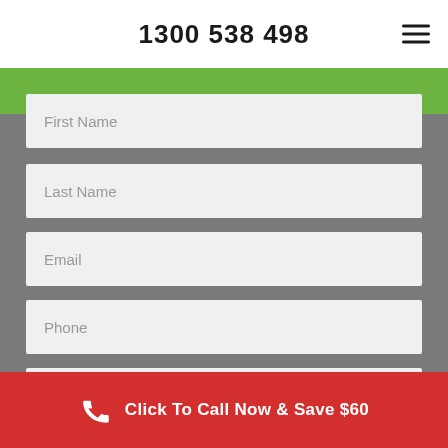1300 538 498
[Figure (screenshot): Green banner background at top of form section]
First Name
Last Name
Email
Phone
Suburb
Click To Call Now & Save $60